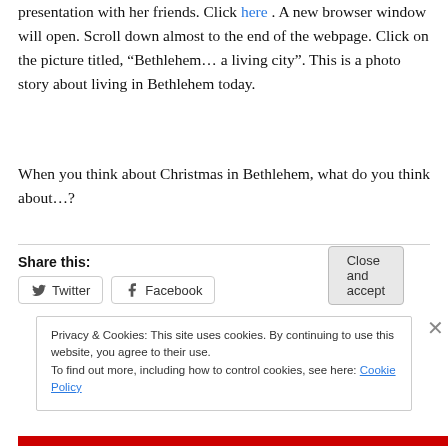presentation with her friends. Click here . A new browser window will open. Scroll down almost to the end of the webpage. Click on the picture titled, “Bethlehem… a living city”. This is a photo story about living in Bethlehem today.
When you think about Christmas in Bethlehem, what do you think about…?
Share this:
[Figure (screenshot): Social share buttons for Twitter and Facebook]
Privacy & Cookies: This site uses cookies. By continuing to use this website, you agree to their use. To find out more, including how to control cookies, see here: Cookie Policy
Close and accept